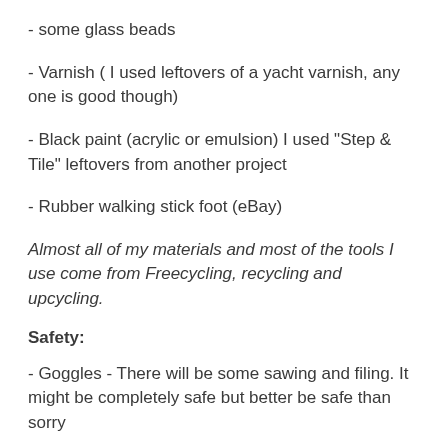- some glass beads
- Varnish ( I used leftovers of a yacht varnish, any one is good though)
- Black paint (acrylic or emulsion) I used "Step & Tile" leftovers from another project
- Rubber walking stick foot (eBay)
Almost all of my materials and most of the tools I use come from Freecycling, recycling and upcycling.
Safety:
- Goggles - There will be some sawing and filing. It might be completely safe but better be safe than sorry